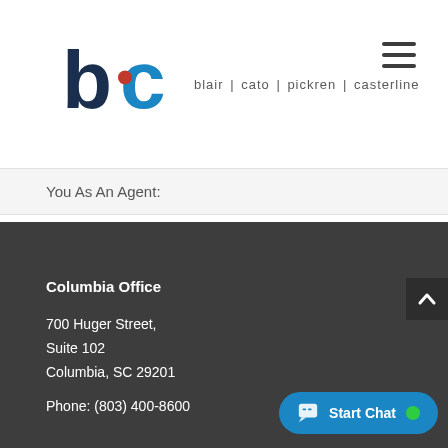[Figure (logo): Blair Cato Pickren Casterline law firm logo with stylized BC letters in dark blue and teal, with firm name in gray text]
[Figure (other): Hamburger menu icon (three horizontal lines) in dark gray]
You As An Agent:
Columbia Office
700 Huger Street,
Suite 102
Columbia, SC 29201
Phone: (803) 400-8600
[Figure (other): Start Chat button with chat icon and green online indicator dot]